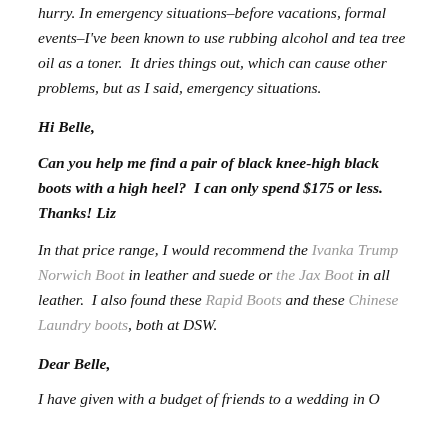hurry. In emergency situations–before vacations, formal events–I've been known to use rubbing alcohol and tea tree oil as a toner. It dries things out, which can cause other problems, but as I said, emergency situations.
Hi Belle,
Can you help me find a pair of black knee-high black boots with a high heel? I can only spend $175 or less. Thanks! Liz
In that price range, I would recommend the Ivanka Trump Norwich Boot in leather and suede or the Jax Boot in all leather. I also found these Rapid Boots and these Chinese Laundry boots, both at DSW.
Dear Belle,
I have given with a budget of friends to a wedding in O...